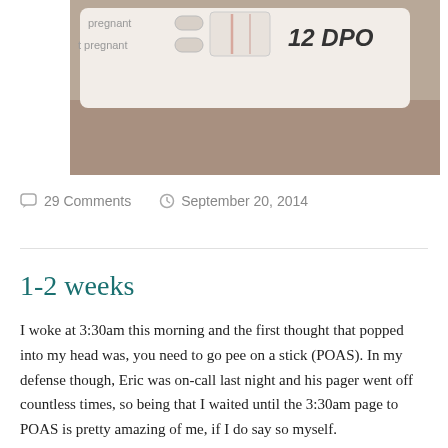[Figure (photo): A photo of a pregnancy test strip showing a faint positive result, with handwritten text '12 DPO' in marker. The test shows 'pregnant' and 'not pregnant' labels on the left side with indicator windows. The background is a brown patterned fabric.]
29 Comments    September 20, 2014
1-2 weeks
I woke at 3:30am this morning and the first thought that popped into my head was, you need to go pee on a stick (POAS). In my defense though, Eric was on-call last night and his pager went off countless times, so being that I waited until the 3:30am page to POAS is pretty amazing of me, if I do say so myself.